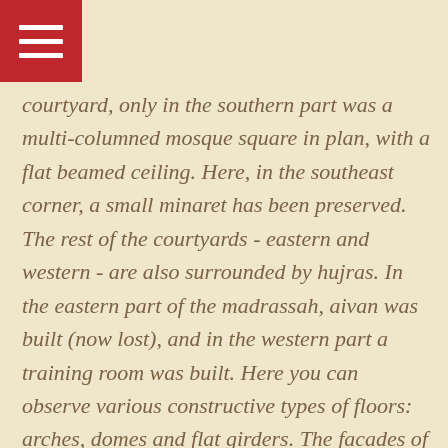[Figure (other): Red square menu icon with three white horizontal lines in top-left corner]
courtyard, only in the southern part was a multi-columned mosque square in plan, with a flat beamed ceiling. Here, in the southeast corner, a small minaret has been preserved. The rest of the courtyards - eastern and western - are also surrounded by hujras. In the eastern part of the madrassah, aivan was built (now lost), and in the western part a training room was built. Here you can observe various constructive types of floors: arches, domes and flat girders. The facades of the madrassah with exposed brickwork are decorated with a rhythmic row of pointed  shallow niches. The interiors are plastered with ganch.